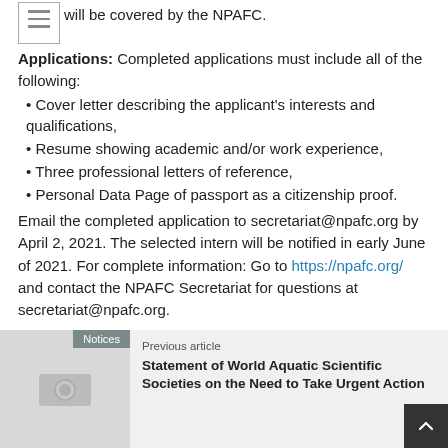will be covered by the NPAFC.
Applications: Completed applications must include all of the following:
Cover letter describing the applicant's interests and qualifications,
Resume showing academic and/or work experience,
Three professional letters of reference,
Personal Data Page of passport as a citizenship proof.
Email the completed application to secretariat@npafc.org by April 2, 2021. The selected intern will be notified in early June of 2021. For complete information: Go to https://npafc.org/ and contact the NPAFC Secretariat for questions at secretariat@npafc.org.
Info-Category   Others
[Figure (photo): Previous article thumbnail placeholder with camera icon and Notices tag]
Previous article
Statement of World Aquatic Scientific Societies on the Need to Take Urgent Action